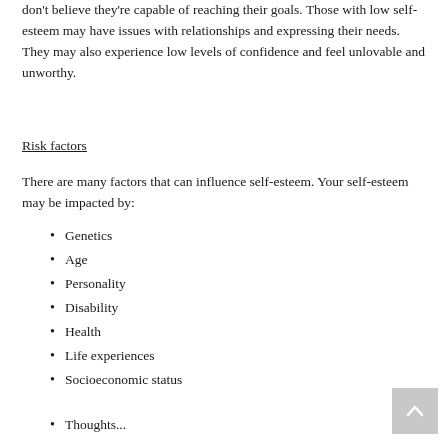don't believe they're capable of reaching their goals. Those with low self-esteem may have issues with relationships and expressing their needs. They may also experience low levels of confidence and feel unlovable and unworthy.
Risk factors
There are many factors that can influence self-esteem. Your self-esteem may be impacted by:
Genetics
Age
Personality
Disability
Health
Life experiences
Socioeconomic status
Thoughts...